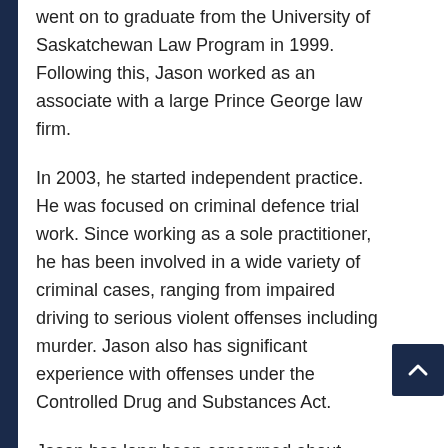went on to graduate from the University of Saskatchewan Law Program in 1999. Following this, Jason worked as an associate with a large Prince George law firm.
In 2003, he started independent practice. He was focused on criminal defence trial work. Since working as a sole practitioner, he has been involved in a wide variety of criminal cases, ranging from impaired driving to serious violent offenses including murder. Jason also has significant experience with offenses under the Controlled Drug and Substances Act.
Jason has long been concerned about access to justice issues. He has volunteered his time as a member of the Legal Services Criminal Tariff